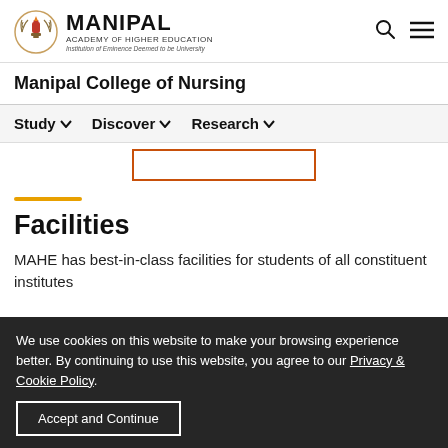MANIPAL ACADEMY OF HIGHER EDUCATION
Manipal College of Nursing
Study | Discover | Research
Facilities
MAHE has best-in-class facilities for students of all constituent institutes
We use cookies on this website to make your browsing experience better. By continuing to use this website, you agree to our Privacy & Cookie Policy. Accept and Continue